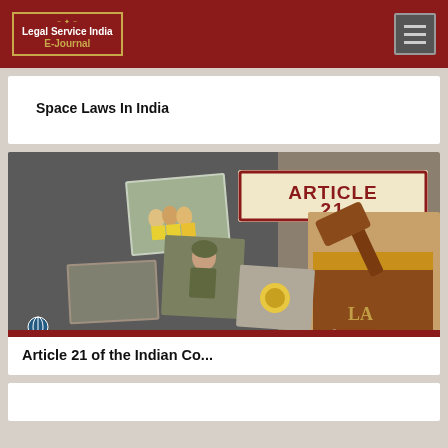Legal Service India E-Journal
Space Laws In India
[Figure (photo): Article 21 of the Indian Constitution — collage of images showing children, soldiers, poverty, a hand holding something, overlaid with a red stamp reading 'ARTICLE 21' and a gavel on a law book with text 'LAW'. Copyright Elections.in watermark visible.]
Article 21 of the Indian Co...
[Figure (photo): Partial view of another article image at bottom of page, cut off.]